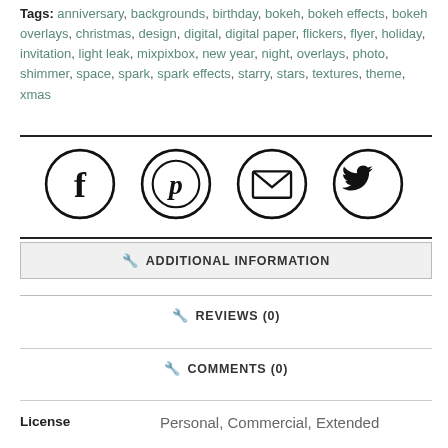Tags: anniversary, backgrounds, birthday, bokeh, bokeh effects, bokeh overlays, christmas, design, digital, digital paper, flickers, flyer, holiday, invitation, light leak, mixpixbox, new year, night, overlays, photo, shimmer, space, spark, spark effects, starry, stars, textures, theme, xmas
[Figure (other): Four circular social media icons in a row: Facebook (f), Pinterest (p), Email (envelope), Twitter (bird)]
ADDITIONAL INFORMATION
REVIEWS (0)
COMMENTS (0)
License    Personal, Commercial, Extended